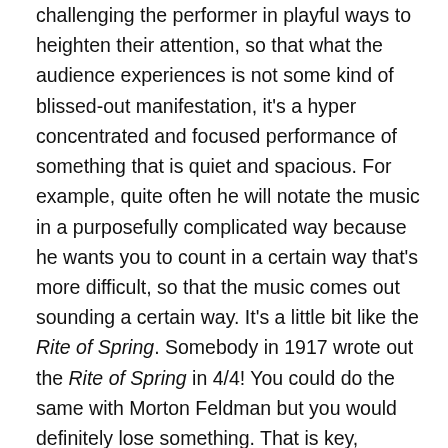challenging the performer in playful ways to heighten their attention, so that what the audience experiences is not some kind of blissed-out manifestation, it's a hyper concentrated and focused performance of something that is quiet and spacious. For example, quite often he will notate the music in a purposefully complicated way because he wants you to count in a certain way that's more difficult, so that the music comes out sounding a certain way. It's a little bit like the Rite of Spring. Somebody in 1917 wrote out the Rite of Spring in 4/4! You could do the same with Morton Feldman but you would definitely lose something. That is key, because what I definitely wasn't trying wasn't trying to do was make a pad and then disappear in variations to maintain interest, but essentially in a static space. I definitely didn't want to do that. I think I wanted it to be more like seeing the elements of a sheet breaking like maybe two ...